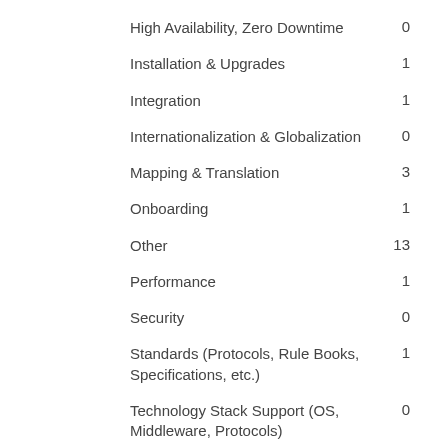High Availability, Zero Downtime	0
Installation & Upgrades	1
Integration	1
Internationalization & Globalization	0
Mapping & Translation	3
Onboarding	1
Other	13
Performance	1
Security	0
Standards (Protocols, Rule Books, Specifications, etc.)	1
Technology Stack Support (OS, Middleware, Protocols)	0
Transaction Processing - Distribution	8